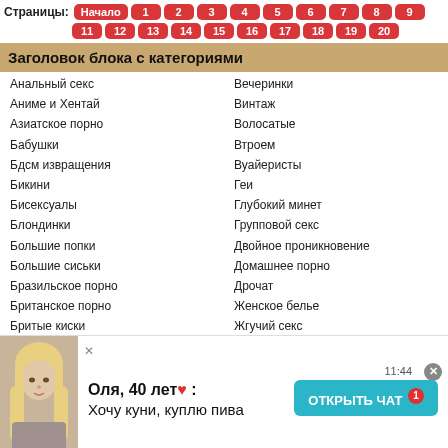Страницы: Начало 1 2 3 4 5 6 7 8 9 11 12 13 14 15 16 17 18 19 20
Заголовок блока с категориями
Анальный секс
Аниме и Хентай
Азиатское порно
Бабушки
Бдсм извращения
Бикини
Бисексуалы
Блондинки
Большие попки
Большие сиськи
Бразильское порно
Британское порно
Бритые киски
Брызги
Брюнетки
В джинсах
Вечеринки
Винтаж
Волосатые
Втроем
Вуайеристы
Геи
Глубокий минет
Групповой секс
Двойное проникновение
Домашнее порно
Дрочат
Женское белье
Жгучий секс
Знаменитости
Порно игрушки
Измена жен
[Figure (photo): Overlay notification with blonde woman photo, name Оля 40 лет, message Хочу куни, куплю пива, open chat button, time 11:44]